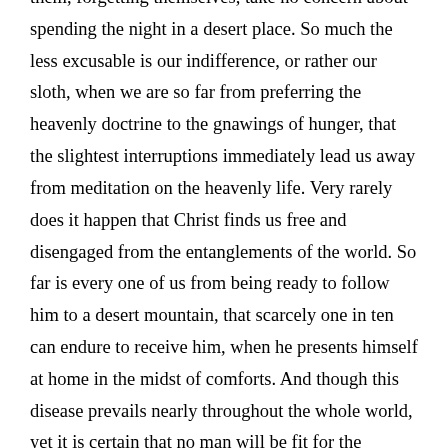them, forgetting themselves, take no concern about spending the night in a desert place. So much the less excusable is our indifference, or rather our sloth, when we are so far from preferring the heavenly doctrine to the gnawings of hunger, that the slightest interruptions immediately lead us away from meditation on the heavenly life. Very rarely does it happen that Christ finds us free and disengaged from the entanglements of the world. So far is every one of us from being ready to follow him to a desert mountain, that scarcely one in ten can endure to receive him, when he presents himself at home in the midst of comforts. And though this disease prevails nearly throughout the whole world, yet it is certain that no man will be fit for the kingdom of God until, laying aside such delicacy, he learn to desire the food of the soul so earnestly that his belly shall not hinder him.